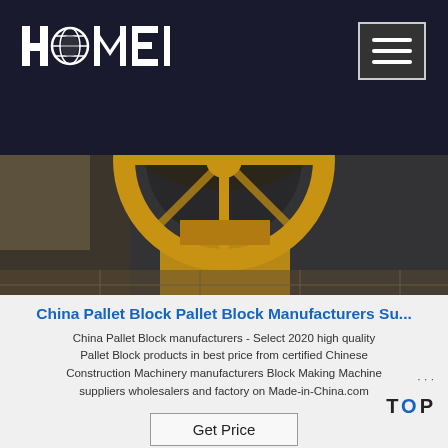[Figure (logo): HAOMEI logo in white text with globe icon on dark background header]
[Figure (photo): Industrial machine (pallet block making machine) wrapped in plastic, showing a large yellow circular/wheel component, stored in a warehouse or factory setting]
China Pallet Block Pallet Block Manufacturers Su...
China Pallet Block manufacturers - Select 2020 high quality Pallet Block products in best price from certified Chinese Construction Machinery manufacturers Block Making Machine suppliers wholesalers and factory on Made-in-China.com
Get Price